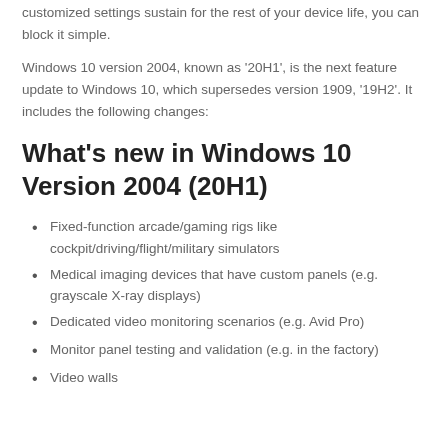customized settings sustain for the rest of your device life, you can block it simple.
Windows 10 version 2004, known as '20H1', is the next feature update to Windows 10, which supersedes version 1909, '19H2'. It includes the following changes:
What's new in Windows 10 Version 2004 (20H1)
Fixed-function arcade/gaming rigs like cockpit/driving/flight/military simulators
Medical imaging devices that have custom panels (e.g. grayscale X-ray displays)
Dedicated video monitoring scenarios (e.g. Avid Pro)
Monitor panel testing and validation (e.g. in the factory)
Video walls